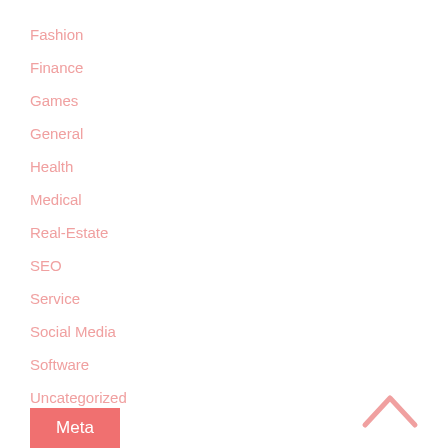Fashion
Finance
Games
General
Health
Medical
Real-Estate
SEO
Service
Social Media
Software
Uncategorized
Meta
[Figure (other): Chevron/up-arrow icon in light pink]